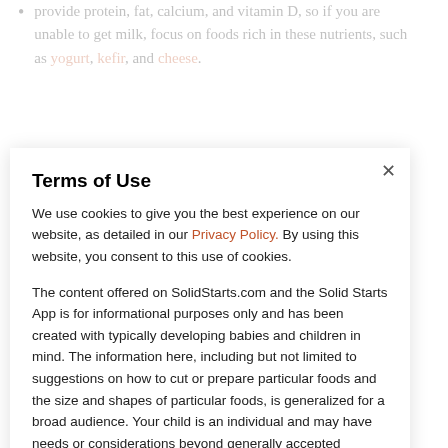provide protein, fat, calcium, and vitamin D, so if you are unable to get milk, focus on foods rich in these nutrients, such as yogurt, kefir, and cheese.
If your access to whole cow's milk (or other milk) is limited, consider offering any of these milks: cow, sheep or goat (2% fat); ... (soy)); or toddler formulas (as advised by your ... Farms Pediatric, Boost Kids Essentials, or ... As long as your child this age if your child has and the res
Terms of Use
We use cookies to give you the best experience on our website, as detailed in our Privacy Policy. By using this website, you consent to this use of cookies.
The content offered on SolidStarts.com and the Solid Starts App is for informational purposes only and has been created with typically developing babies and children in mind. The information here, including but not limited to suggestions on how to cut or prepare particular foods and the size and shapes of particular foods, is generalized for a broad audience. Your child is an individual and may have needs or considerations beyond generally accepted practices. If your child has underlying medical or developmental differences, we strongly recommend and encourage you to discuss